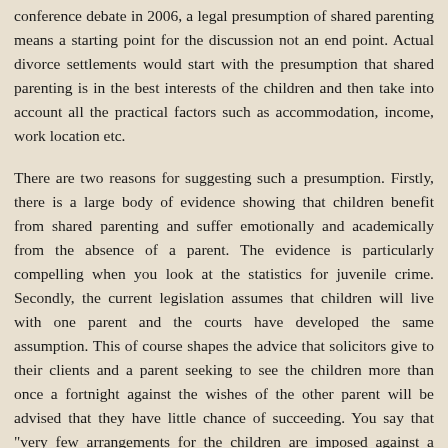conference debate in 2006, a legal presumption of shared parenting means a starting point for the discussion not an end point. Actual divorce settlements would start with the presumption that shared parenting is in the best interests of the children and then take into account all the practical factors such as accommodation, income, work location etc.
There are two reasons for suggesting such a presumption. Firstly, there is a large body of evidence showing that children benefit from shared parenting and suffer emotionally and academically from the absence of a parent. The evidence is particularly compelling when you look at the statistics for juvenile crime. Secondly, the current legislation assumes that children will live with one parent and the courts have developed the same assumption. This of course shapes the advice that solicitors give to their clients and a parent seeking to see the children more than once a fortnight against the wishes of the other parent will be advised that they have little chance of succeeding. You say that "very few arrangements for the children are imposed against a parent's will". I don't know how you can possibly know this. Perhaps you mean that very few arrangements are